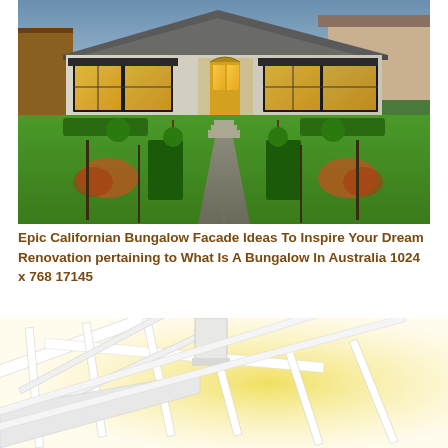[Figure (photo): Exterior photo of a Californian Bungalow house facade at dusk with illuminated windows, manicured hedges, topiary trees, and a concrete pathway leading to the front door, surrounded by green lawn.]
Epic Californian Bungalow Facade Ideas To Inspire Your Dream Renovation pertaining to What Is A Bungalow In Australia 1024 x 768 17145
[Figure (photo): Partial view of a white bungalow roof structure with exposed rafters and beams, shown from a low angle against a yellow-tinted background glow.]